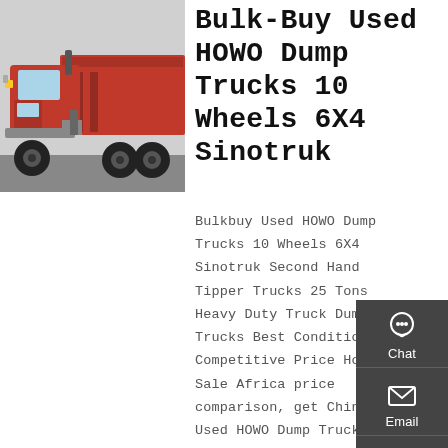[Figure (photo): Red HOWO dump truck / heavy-duty vehicle, side/front angle view]
Bulk-Buy Used HOWO Dump Trucks 10 Wheels 6X4 Sinotruk
Bulkbuy Used HOWO Dump Trucks 10 Wheels 6X4 Sinotruk Second Hand Tipper Trucks 25 Tons Heavy Duty Truck Dump Trucks Best Condition Competitive Price Hot Sale Africa price comparison, get China Used HOWO Dump Trucks 10 Wheels 6X4 Sinotruk